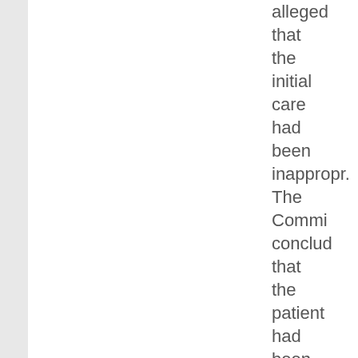alleged that the initial care had been inapprop. The Commi concluded that the patient had been properly assessed and dischar with approp advice for follow-up